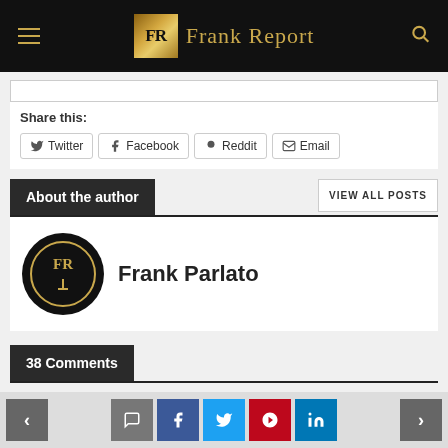Frank Report
Share this:
Twitter Facebook Reddit Email
About the author
VIEW ALL POSTS
Frank Parlato
38 Comments